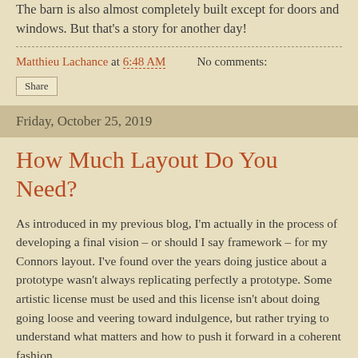The barn is also almost completely built except for doors and windows. But that's a story for another day!
Matthieu Lachance at 6:48 AM   No comments:
Share
Friday, October 25, 2019
How Much Layout Do You Need?
As introduced in my previous blog, I'm actually in the process of developing a final vision – or should I say framework – for my Connors layout. I've found over the years doing justice about a prototype wasn't always replicating perfectly a prototype. Some artistic license must be used and this license isn't about doing going loose and veering toward indulgence, but rather trying to understand what matters and how to push it forward in a coherent fashion.
Framing a subject is a complex and subjective task. No